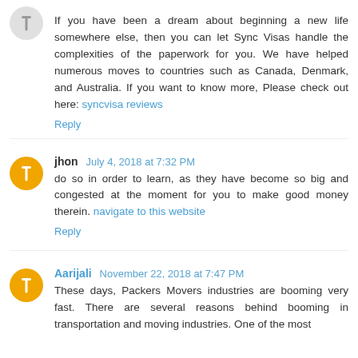If you have been a dream about beginning a new life somewhere else, then you can let Sync Visas handle the complexities of the paperwork for you. We have helped numerous moves to countries such as Canada, Denmark, and Australia. If you want to know more, Please check out here: syncvisa reviews
Reply
jhon July 4, 2018 at 7:32 PM
do so in order to learn, as they have become so big and congested at the moment for you to make good money therein. navigate to this website
Reply
Aarijali November 22, 2018 at 7:47 PM
These days, Packers Movers industries are booming very fast. There are several reasons behind booming in transportation and moving industries. One of the most